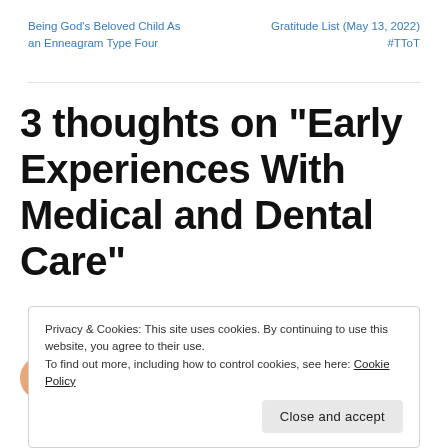Being God's Beloved Child As an Enneagram Type Four
Gratitude List (May 13, 2022) #TToT
3 thoughts on “Early Experiences With Medical and Dental Care”
Privacy & Cookies: This site uses cookies. By continuing to use this website, you agree to their use.
To find out more, including how to control cookies, see here: Cookie Policy
Close and accept